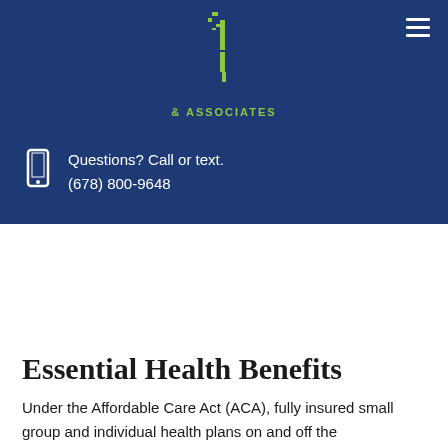& ASSOCIATES | Questions? Call or text. (678) 800-9648
Essential Health Benefits
Under the Affordable Care Act (ACA), fully insured small group and individual health plans on and off the